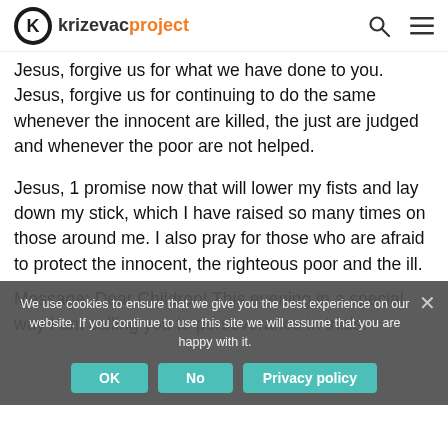krizevacproject
Jesus, forgive us for what we have done to you. Jesus, forgive us for continuing to do the same whenever the innocent are killed, the just are judged and whenever the poor are not helped.
Jesus, 1 promise now that will lower my fists and lay down my stick, which I have raised so many times on those around me. I also pray for those who are afraid to protect the innocent, the righteous poor and the ill.
We use cookies to ensure that we give you the best experience on our website. If you continue to use this site we will assume that you are happy with it.
Message: Dear Children! This evening in a special way I am calling you to perseverance in trials.